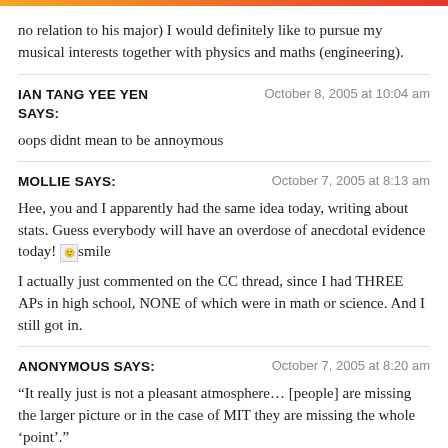no relation to his major) I would definitely like to pursue my musical interests together with physics and maths (engineering).
IAN TANG YEE YEN SAYS:
October 8, 2005 at 10:04 am
oops didnt mean to be annoymous
MOLLIE SAYS:
October 7, 2005 at 8:13 am
Hee, you and I apparently had the same idea today, writing about stats. Guess everybody will have an overdose of anecdotal evidence today! [smile]
I actually just commented on the CC thread, since I had THREE APs in high school, NONE of which were in math or science. And I still got in.
ANONYMOUS SAYS:
October 7, 2005 at 8:20 am
“It really just is not a pleasant atmosphere… [people] are missing the larger picture or in the case of MIT they are missing the whole ‘point’.”